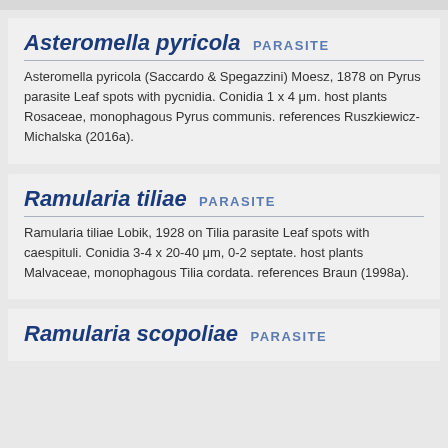Asteromella pyricola PARASITE
Asteromella pyricola (Saccardo & Spegazzini) Moesz, 1878 on Pyrus parasite Leaf spots with pycnidia. Conidia 1 x 4 μm. host plants Rosaceae, monophagous Pyrus communis. references Ruszkiewicz-Michalska (2016a).
Ramularia tiliae PARASITE
Ramularia tiliae Lobik, 1928 on Tilia parasite Leaf spots with caespituli. Conidia 3-4 x 20-40 μm, 0-2 septate. host plants Malvaceae, monophagous Tilia cordata. references Braun (1998a).
Ramularia scopoliae PARASITE